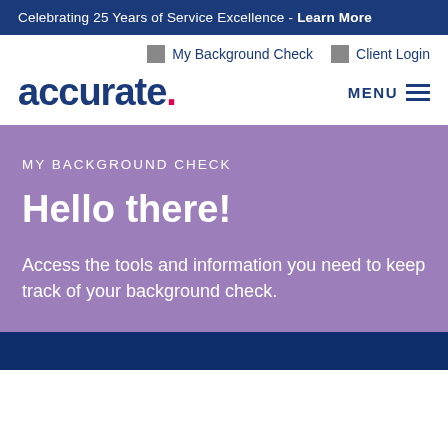Celebrating 25 Years of Service Excellence - Learn More
My Background Check  Client Login
[Figure (logo): Accurate logo with blue text and a red/pink period dot]
MY BACKGROUND CHECK
Hello there!
Access the tools and information you need to keep track of your background check.